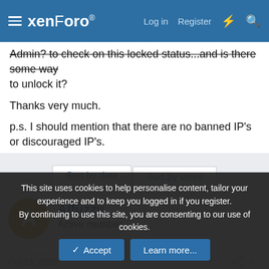xenForo — Log in | Register
Admin? to check on this locked status…and is there some way to unlock it?
Thanks very much.
p.s. I should mention that there are no banned IP's or discouraged IP's.
Sort by date   Sort by votes
Alfuzzy
Active member
Oct 13, 2020   #2
This site uses cookies to help personalise content, tailor your experience and to keep you logged in if you register.
By continuing to use this site, you are consenting to our use of cookies.